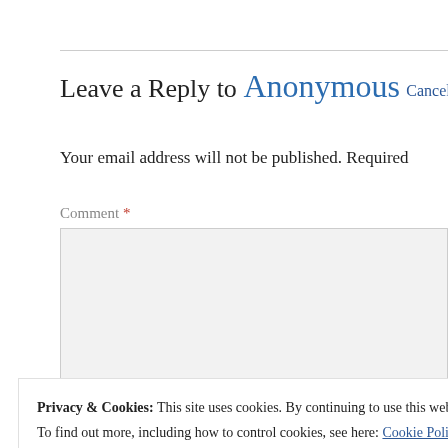Leave a Reply to Anonymous Cancel reply
Your email address will not be published. Required
Comment *
Privacy & Cookies: This site uses cookies. By continuing to use this website, you agree to their use.
To find out more, including how to control cookies, see here: Cookie Policy